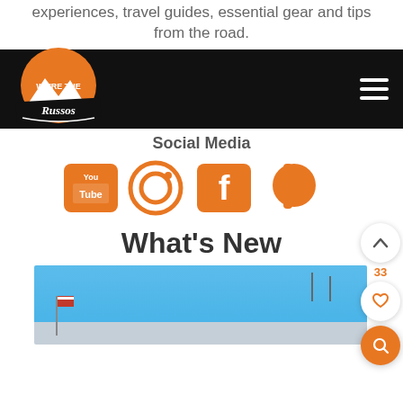experiences, travel guides, essential gear and tips from the road.
[Figure (logo): We're the Russos logo with orange mountain circle and white text on black navigation bar]
Social Media
[Figure (infographic): Orange social media icons: YouTube, Instagram, Facebook, Patreon]
What's New
[Figure (photo): Outdoor photo with blue sky, American flag on a pole, and parking lot area below]